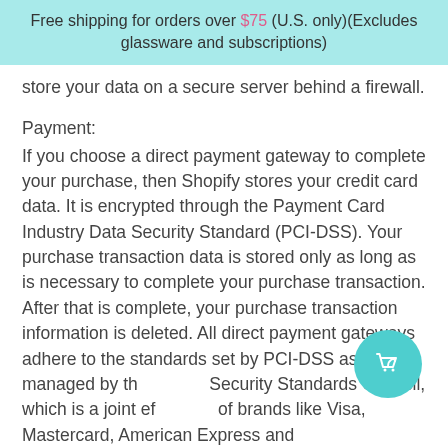Free shipping for orders over $75 (U.S. only)(Excludes glassware and subscriptions)
store your data on a secure server behind a firewall.
Payment:
If you choose a direct payment gateway to complete your purchase, then Shopify stores your credit card data. It is encrypted through the Payment Card Industry Data Security Standard (PCI-DSS). Your purchase transaction data is stored only as long as is necessary to complete your purchase transaction. After that is complete, your purchase transaction information is deleted. All direct payment gateways adhere to the standards set by PCI-DSS as managed by the Security Standards Council, which is a joint effort of brands like Visa, Mastercard, American Express and